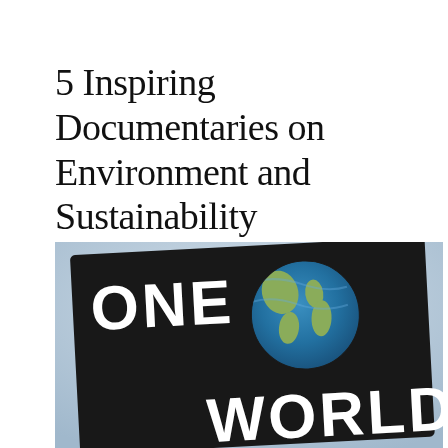5 Inspiring Documentaries on Environment and Sustainability
[Figure (photo): A hand-painted protest sign on a black board with the text 'ONE WORLD' and a painted globe showing Earth's continents and oceans, held against a light blue-gray sky background.]